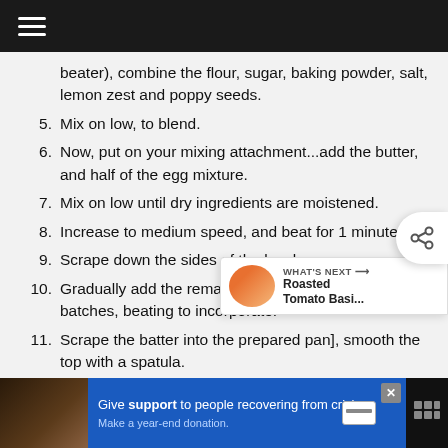beater), combine the flour, sugar, baking powder, salt, lemon zest and poppy seeds.
5. Mix on low, to blend.
6. Now, put on your mixing attachment...add the butter, and half of the egg mixture.
7. Mix on low until dry ingredients are moistened.
8. Increase to medium speed, and beat for 1 minute.
9. Scrape down the sides of the bowl.
10. Gradually add the remaining egg mixture in 2 batches, beating to incorporate.
11. Scrape the batter into the prepared pa[n], smooth the top with a spatula.
12. Bake for 55 minutes, covering with foil after 30
[Figure (other): What's Next promo card with Roasted Tomato Basi... image]
[Figure (other): Share button overlay]
[Figure (other): Bottom advertisement bar: Give support to people recovering from crisis. Make a year-end donation.]